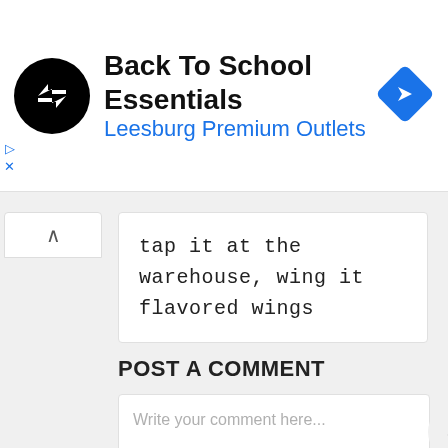[Figure (screenshot): Ad banner for Back To School Essentials at Leesburg Premium Outlets, with circular black logo with white arrows, blue navigation arrow icon on right, and ad controls (play/close) on left.]
tap it at the warehouse, wing it flavored wings
POST A COMMENT
Write your comment here...